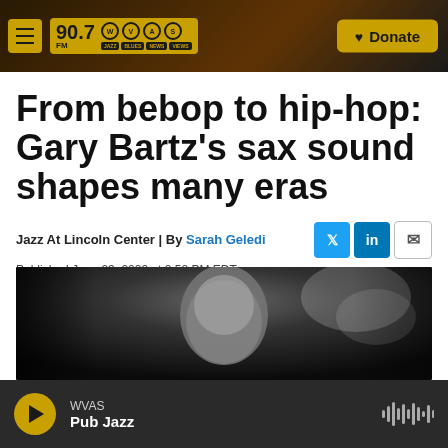90.7 FM WVAS Jazz Blues News Views | Donate
From bebop to hip-hop: Gary Bartz's sax sound shapes many eras
Jazz At Lincoln Center | By Sarah Geledi
Published June 23, 2022 at 2:58 PM EDT
[Figure (photo): Black and white photo of Gary Bartz, an older man, partially visible, with smoke or mist in the background]
WVAS | Pub Jazz